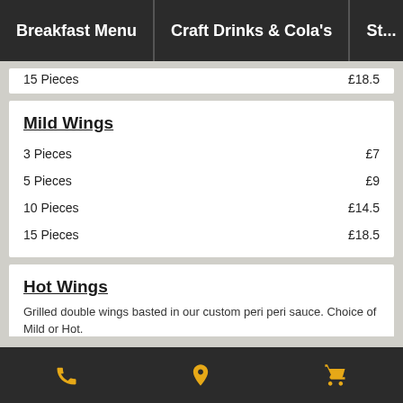Breakfast Menu | Craft Drinks & Cola's | St...
15 Pieces  £18.5
Mild Wings
3 Pieces  £7
5 Pieces  £9
10 Pieces  £14.5
15 Pieces  £18.5
Hot Wings
Grilled double wings basted in our custom peri peri sauce. Choice of Mild or Hot.
3 Pieces
Phone | Location | Cart